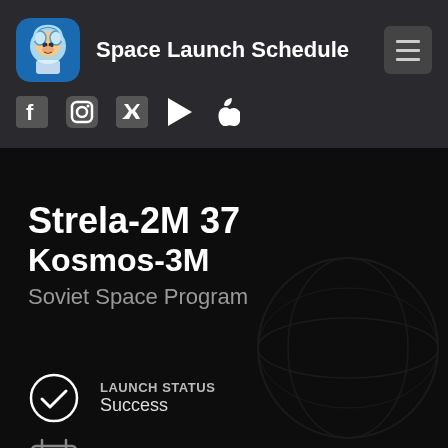Space Launch Schedule
[Figure (screenshot): Social media icons: Facebook, Instagram, Twitter, Google Play, Apple]
Strela-2M 37
Kosmos-3M
Soviet Space Program
LAUNCH STATUS
Success
Wed, Sep 4th, 1985